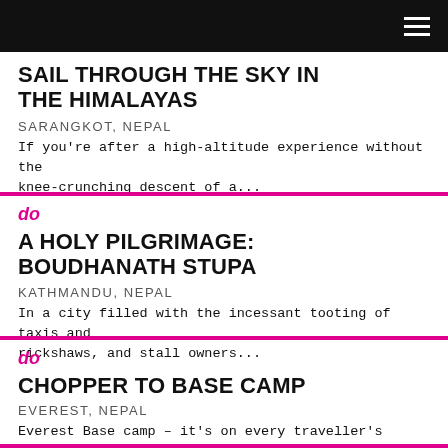SAIL THROUGH THE SKY IN THE HIMALAYAS
SARANGKOT, NEPAL
If you're after a high-altitude experience without the knee-crunching descent of a...
do
A HOLY PILGRIMAGE: BOUDHANATH STUPA
KATHMANDU, NEPAL
In a city filled with the incessant tooting of taxis and rickshaws, and stall owners...
do
CHOPPER TO BASE CAMP
EVEREST, NEPAL
Everest Base camp – it's on every traveller's bucket list, but why put your lazy...